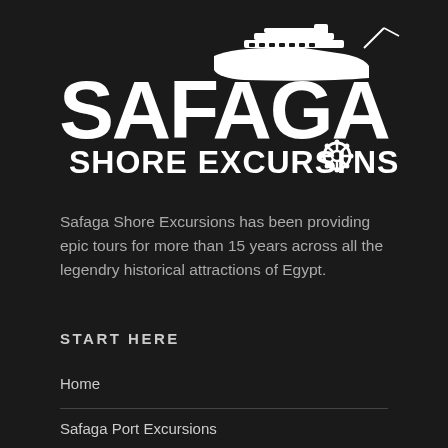[Figure (logo): Safaga Shore Excursions logo: large white bold text 'SAFAGA' with a cruise ship illustration above, and 'SHORE EXCURSIONS' below with a ship helm/wheel icon replacing the letter O]
Safaga Shore Excursions has been providing epic tours for more than 15 years across all the legendry historical attractions of Egypt.
START HERE
Home
Safaga Port Excursions